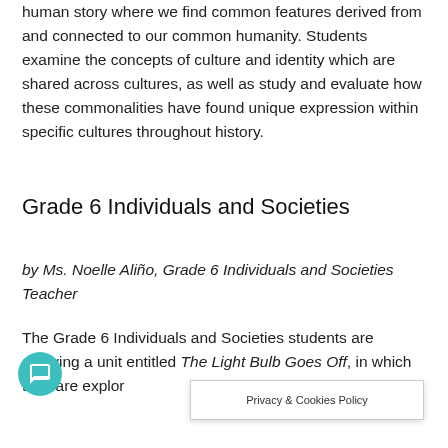human story where we find common features derived from and connected to our common humanity. Students examine the concepts of culture and identity which are shared across cultures, as well as study and evaluate how these commonalities have found unique expression within specific cultures throughout history.
Grade 6 Individuals and Societies
by Ms. Noelle Aliño, Grade 6 Individuals and Societies Teacher
The Grade 6 Individuals and Societies students are studying a unit entitled The Light Bulb Goes Off, in which they are exploring...